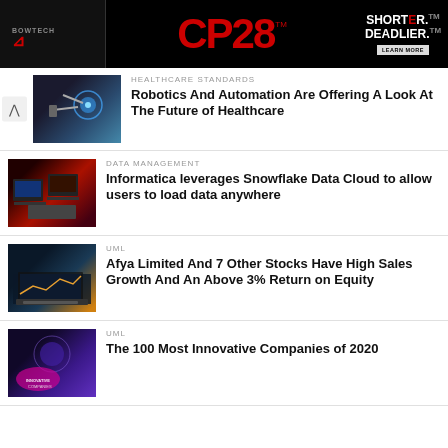[Figure (photo): Advertisement banner: Bowtech CP28 crossbow ad with red CP28 logo and 'SHORTER. DEADLIER.' tagline]
HEALTHCARE STANDARDS
Robotics And Automation Are Offering A Look At The Future of Healthcare
DATA MANAGEMENT
Informatica leverages Snowflake Data Cloud to allow users to load data anywhere
UML
Afya Limited And 7 Other Stocks Have High Sales Growth And An Above 3% Return on Equity
UML
The 100 Most Innovative Companies of 2020